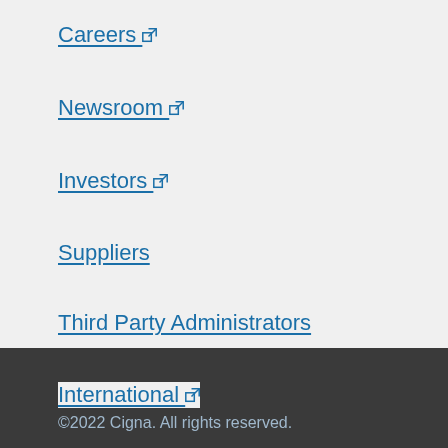Careers ↗
Newsroom ↗
Investors ↗
Suppliers
Third Party Administrators
International ↗
Evernorth ↗
©2022 Cigna. All rights reserved.